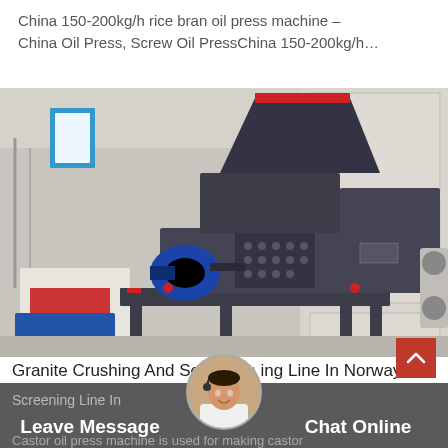China 150-200kg/h rice bran oil press machine – China Oil Press, Screw Oil PressChina 150-200kg/h…
[Figure (photo): Industrial oil press machine (large grey screw oil press) in a warehouse/factory setting with a blue electric motor, red accents, and other machinery in the background.]
Granite Crushing And Screening Line In Norway
Screening Line In
Leave Message
Chat Online
Castor oil press machine is used for making castor